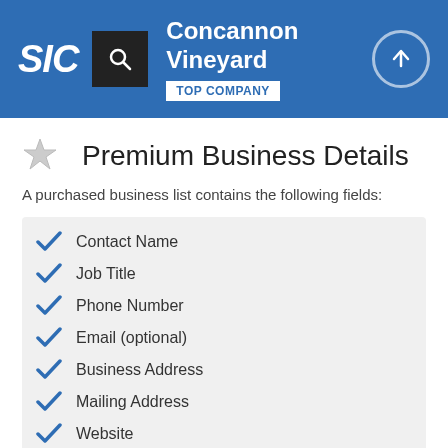SIC — Concannon Vineyard — TOP COMPANY
Premium Business Details
A purchased business list contains the following fields:
Contact Name
Job Title
Phone Number
Email (optional)
Business Address
Mailing Address
Website
Latitude / Longitude
Modeled Credit Rating
Square Footage
Public / Private